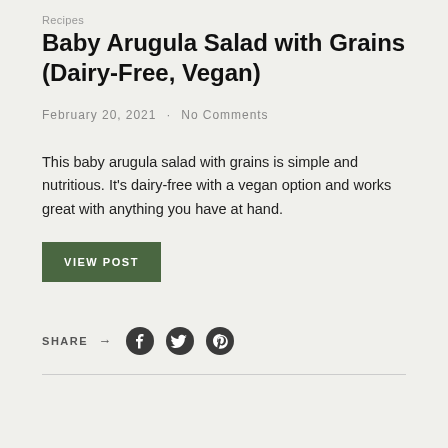Recipes
Baby Arugula Salad with Grains (Dairy-Free, Vegan)
February 20, 2021 · No Comments
This baby arugula salad with grains is simple and nutritious. It's dairy-free with a vegan option and works great with anything you have at hand.
VIEW POST
SHARE → (Facebook, Twitter, Pinterest icons)